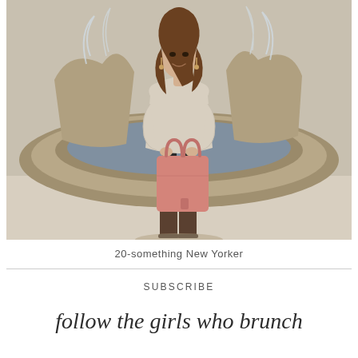[Figure (photo): A young woman with long brown hair standing in front of a stone fountain. She is wearing a beige/cream oversized sweater, dark grey/black leather-look pants, tall brown boots, and holding a pink structured tote bag. The photo is in a muted, slightly desaturated style.]
20-something New Yorker
SUBSCRIBE
follow the girls who brunch